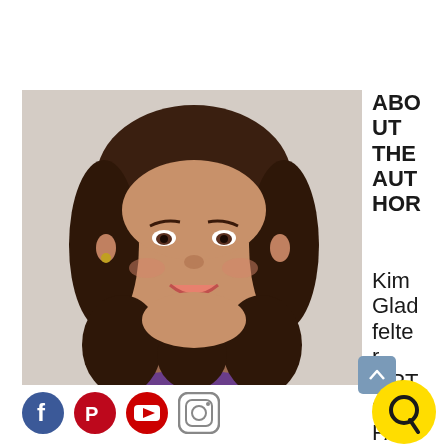[Figure (photo): Headshot of a woman with curly dark hair, smiling, wearing a purple top, against a light background.]
ABOUT THE AUTHOR
Kim Gladfelter, MPT OC, FA
[Figure (other): Social media icons: Facebook, Pinterest, YouTube, Instagram]